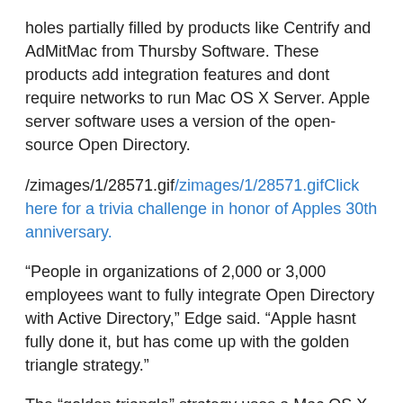holes partially filled by products like Centrify and AdMitMac from Thursby Software. These products add integration features and dont require networks to run Mac OS X Server. Apple server software uses a version of the open-source Open Directory.
/zimages/1/28571.gifClick here for a trivia challenge in honor of Apples 30th anniversary.
“People in organizations of 2,000 or 3,000 employees want to fully integrate Open Directory with Active Directory,” Edge said. “Apple hasnt fully done it, but has come up with the golden triangle strategy.”
The “golden triangle” strategy uses a Mac OS X Server on the enterpris… × h Active D… …nt